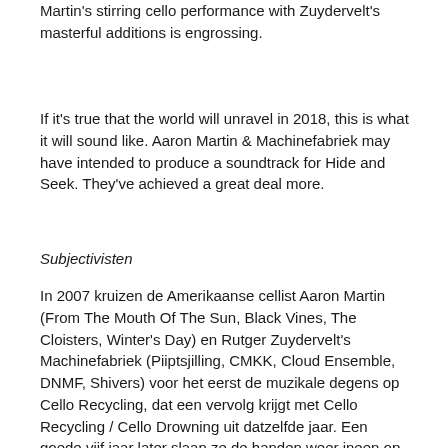Martin's stirring cello performance with Zuydervelt's masterful additions is engrossing.
If it's true that the world will unravel in 2018, this is what it will sound like. Aaron Martin & Machinefabriek may have intended to produce a soundtrack for Hide and Seek. They've achieved a great deal more.
Subjectivisten
In 2007 kruizen de Amerikaanse cellist Aaron Martin (From The Mouth Of The Sun, Black Vines, The Cloisters, Winter's Day) en Rutger Zuydervelt's Machinefabriek (Piiptsjilling, CMKK, Cloud Ensemble, DNMF, Shivers) voor het eerst de muzikale degens op Cello Recycling, dat een vervolg krijgt met Cello Recycling / Cello Drowning uit datzelfde jaar. Een goede vijf jaar later slaan ze de handen weer ineen op Seeker, uitgebracht op het fijne Dronarivm label. De muziek is oorspronkelijk gecreëerd voor de Korzo door productie "Hide And Seek" in Martin